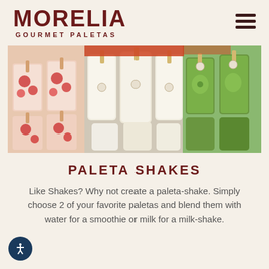[Figure (logo): Morelia Gourmet Paletas logo in dark red with hamburger menu icon]
[Figure (photo): Display case of colorful paletas (Mexican ice pops) including strawberry, white cream, and kiwi varieties]
PALETA SHAKES
Like Shakes? Why not create a paleta-shake. Simply choose 2 of your favorite paletas and blend them with water for a smoothie or milk for a milk-shake.